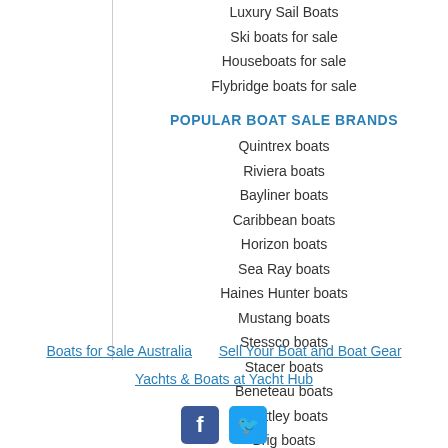Luxury Sail Boats
Ski boats for sale
Houseboats for sale
Flybridge boats for sale
POPULAR BOAT SALE BRANDS
Quintrex boats
Riviera boats
Bayliner boats
Caribbean boats
Horizon boats
Sea Ray boats
Haines Hunter boats
Mustang boats
Stessco boats
Stacer boats
Beneteau boats
Whittley boats
Brig boats
Boats for Sale Australia   Sell Your Boat and Boat Gear
Yachts & Boats at Yacht Hub